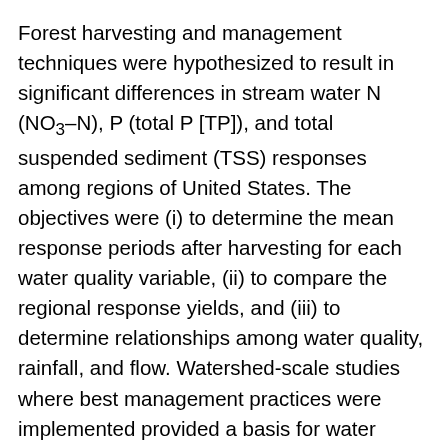Forest harvesting and management techniques were hypothesized to result in significant differences in stream water N (NO3–N), P (total P [TP]), and total suspended sediment (TSS) responses among regions of United States. The objectives were (i) to determine the mean response periods after harvesting for each water quality variable, (ii) to compare the regional response yields, and (iii) to determine relationships among water quality, rainfall, and flow. Watershed-scale studies where best management practices were implemented provided a basis for water quality analyses. A mixed model was used to estimate the time from harvest to time when the harvested site yielded similar export as the reference site (response period). Normalized water quality yields were calculated as response yields (kg ha⁻¹ yr⁻¹) times estimated response periods. Significant differences among yields were identified using ANOVA and Tukey test (a = 0.05), and relationships between water quality